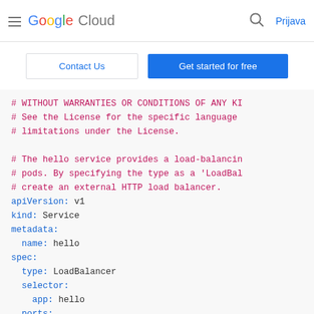Google Cloud  Prijava
Contact Us  Get started for free
# WITHOUT WARRANTIES OR CONDITIONS OF ANY KI
# See the License for the specific language
# limitations under the License.

# The hello service provides a load-balancin
# pods. By specifying the type as a 'LoadBal
# create an external HTTP load balancer.
apiVersion: v1
kind: Service
metadata:
  name: hello
spec:
  type: LoadBalancer
  selector:
    app: hello
  ports:
  - port: 80